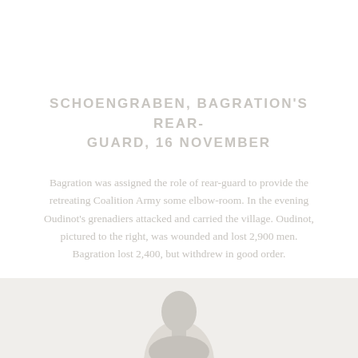SCHOENGRABEN, BAGRATION'S REAR-GUARD, 16 NOVEMBER
Bagration was assigned the role of rear-guard to provide the retreating Coalition Army some elbow-room. In the evening Oudinot's grenadiers attacked and carried the village. Oudinot, pictured to the right, was wounded and lost 2,900 men. Bagration lost 2,400, but withdrew in good order.
Image: Marshal Nicolas Oudinot
[Figure (photo): Portrait photo of Marshal Nicolas Oudinot, cropped at bottom of page, showing head and upper torso against a light background]